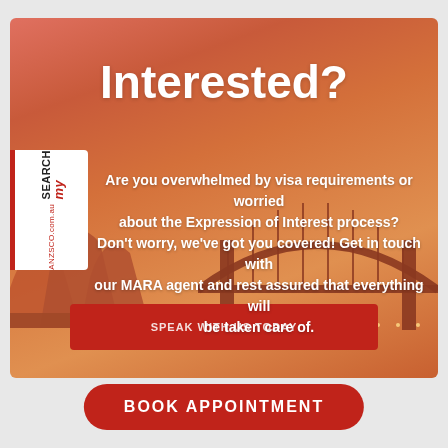[Figure (photo): Background photo of Sydney Opera House and Harbour Bridge silhouettes against an orange/red sunset sky, with a logo badge overlay reading SEARCH my ANZSCO.com.au and a red button bar at the bottom reading SPEAK WITH US TODAY]
Interested?
Are you overwhelmed by visa requirements or worried about the Expression of Interest process? Don't worry, we've got you covered! Get in touch with our MARA agent and rest assured that everything will be taken care of.
BOOK APPOINTMENT